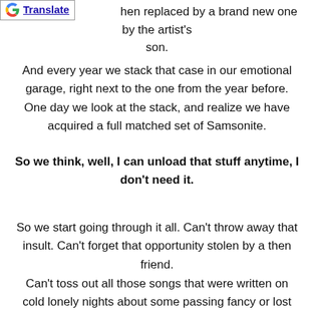hen replaced by a brand new one by the artist's son.
And every year we stack that case in our emotional garage, right next to the one from the year before. One day we look at the stack, and realize we have acquired a full matched set of Samsonite.
So we think, well, I can unload that stuff anytime, I don't need it.
So we start going through it all. Can't throw away that insult. Can't forget that opportunity stolen by a then friend.
Can't toss out all those songs that were written on cold lonely nights about some passing fancy or lost lover; or the ones